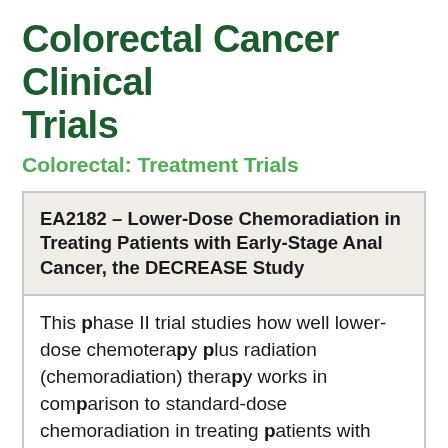Colorectal Cancer Clinical Trials
Colorectal: Treatment Trials
| EA2182 – Lower-Dose Chemoradiation in Treating Patients with Early-Stage Anal Cancer, the DECREASE Study |
| This phase II trial studies how well lower-dose chemotherapy plus radiation (chemoradiation) therapy works in comparison to standard-dose chemoradiation in treating patients with early-stage anal cancer. Drugs used in chemotherapy, such as mitomycin, |